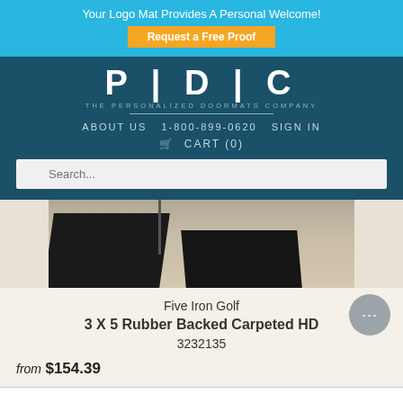Your Logo Mat Provides A Personal Welcome!
Request a Free Proof
[Figure (logo): PDC - The Personalized Doormats Company logo in white on dark teal background]
ABOUT US   1-800-899-0620   SIGN IN
🛒 CART (0)
Search...
[Figure (photo): Close-up photo of dark rubber-backed doormats on beige tile floor]
Five Iron Golf
3 X 5 Rubber Backed Carpeted HD
3232135
from $154.39